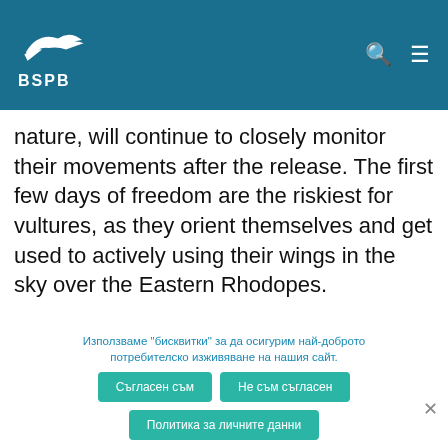BSPB
nature, will continue to closely monitor their movements after the release. The first few days of freedom are the riskiest for vultures, as they orient themselves and get used to actively using their wings in the sky over the Eastern Rhodopes.
[Figure (other): Gray placeholder box (advertisement or embedded content area)]
Използваме "бисквитки" за да осигурим най-доброто потребителско изживяване на нашия сайт.
Съгласен съм | Не съм съгласен | Политика за личните данни